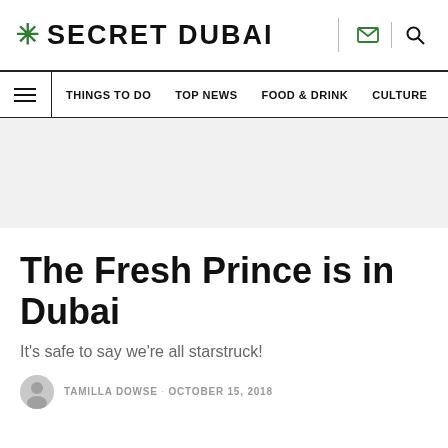SECRET DUBAI
THINGS TO DO  TOP NEWS  FOOD & DRINK  CULTURE
[Figure (other): Grey advertisement/banner placeholder area]
The Fresh Prince is in Dubai
It's safe to say we're all starstruck!
TAMILLA DOWSE · OCTOBER 15, 2018